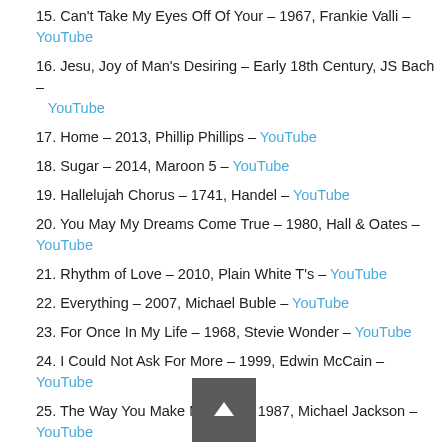15. Can't Take My Eyes Off Of Your – 1967, Frankie Valli – YouTube
16. Jesu, Joy of Man's Desiring – Early 18th Century, JS Bach – YouTube
17. Home – 2013, Phillip Phillips – YouTube
18. Sugar – 2014, Maroon 5 – YouTube
19. Hallelujah Chorus – 1741, Handel – YouTube
20. You May My Dreams Come True – 1980, Hall & Oates – YouTube
21. Rhythm of Love – 2010, Plain White T's – YouTube
22. Everything – 2007, Michael Buble – YouTube
23. For Once In My Life – 1968, Stevie Wonder – YouTube
24. I Could Not Ask For More – 1999, Edwin McCain – YouTube
25. The Way You Make Me Feel – 1987, Michael Jackson – YouTube